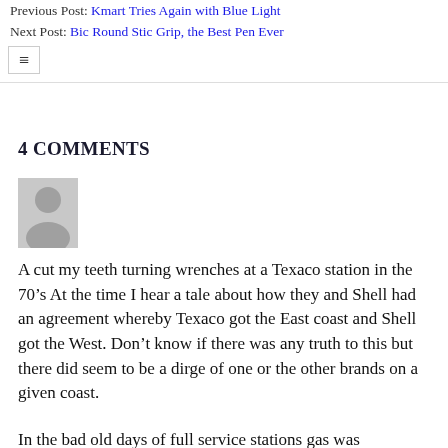Previous Post: Kmart Tries Again with Blue Light
Next Post: Bic Round Stic Grip, the Best Pen Ever
4 COMMENTS
[Figure (illustration): Grey avatar/placeholder user icon showing a silhouette of a person on a light grey background]
A cut my teeth turning wrenches at a Texaco station in the 70’s At the time I hear a tale about how they and Shell had an agreement whereby Texaco got the East coast and Shell got the West. Don’t know if there was any truth to this but there did seem to be a dirge of one or the other brands on a given coast.
In the bad old days of full service stations gas was